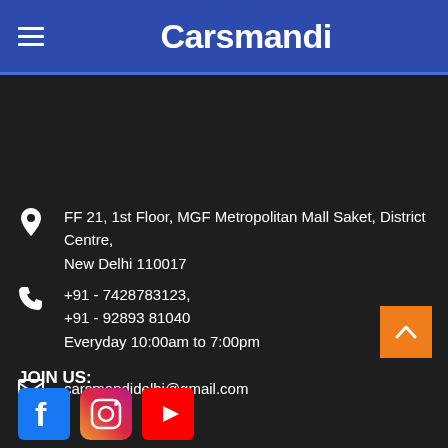Carsmandi
FF 21, 1st Floor, MGF Metropolitan Mall Saket, District Centre, New Delhi 110017
+91 - 7428783123,
+91 - 92893 81040
Everyday 10:00am to 7:00pm
carsmandidelhi@gmail.com
JOIN US: